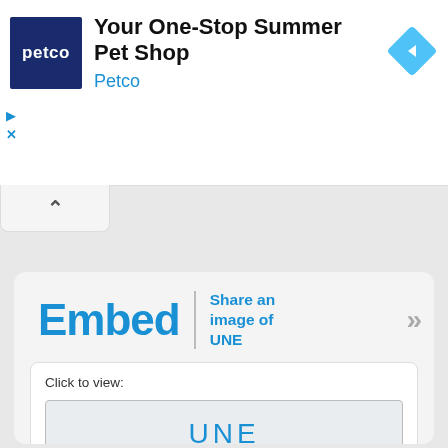[Figure (screenshot): Petco advertisement banner: Petco dark blue square logo on left, headline 'Your One-Stop Summer Pet Shop' and brand name 'Petco' in blue, blue diamond navigation icon on right, play and close controls on left side]
[Figure (screenshot): Collapse/chevron up tab button below the ad banner]
Embed
Share an image of UNE
Click to view:
[Figure (screenshot): UNE preview image placeholder showing 'UNE' text in blue with 'stands for' partial text below]